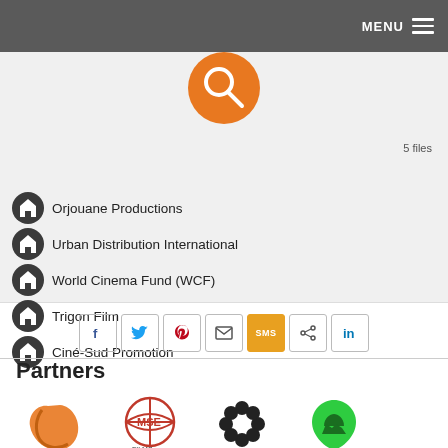MENU
5 files
Orjouane Productions
Urban Distribution International
World Cinema Fund (WCF)
Trigon Film
Ciné-Sud Promotion
[Figure (other): Social sharing buttons: Facebook, Twitter, Pinterest, Email, SMS, Share, LinkedIn]
Partners
[Figure (logo): Partner logos: ARTEDU (orange Africa shape), MSE (red globe), flower/gear icon (black), Africa green hands icon]